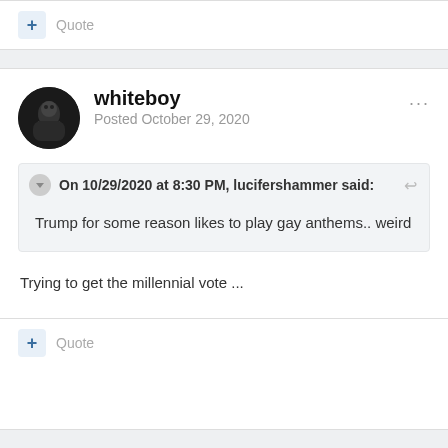+ Quote
whiteboy
Posted October 29, 2020
On 10/29/2020 at 8:30 PM, lucifershammer said:
Trump for some reason likes to play gay anthems.. weird
Trying to get the millennial vote ...
+ Quote